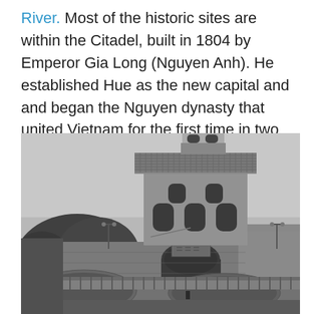River. Most of the historic sites are within the Citadel, built in 1804 by Emperor Gia Long (Nguyen Anh). He established Hue as the new capital and and began the Nguyen dynasty that united Vietnam for the first time in two centuries. The Nguyen dynasty ruled until 1945.
[Figure (photo): Black and white photograph of the Hue Citadel gate tower with traditional Vietnamese architecture, showing arched gateway, decorative tiled roof, and a bridge in the foreground.]